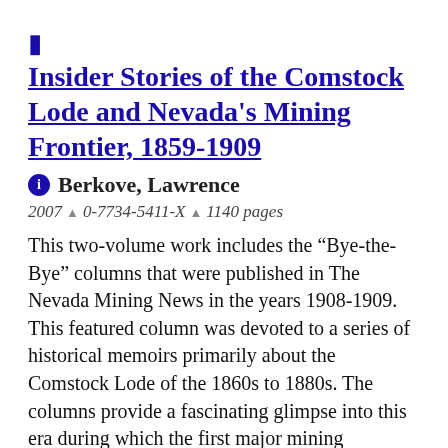Insider Stories of the Comstock Lode and Nevada's Mining Frontier, 1859-1909
Berkove, Lawrence
2007 ^ 0-7734-5411-X ^ 1140 pages
This two-volume work includes the “Bye-the-Bye” columns that were published in The Nevada Mining News in the years 1908-1909. This featured column was devoted to a series of historical memoirs primarily about the Comstock Lode of the 1860s to 1880s. The columns provide a fascinating glimpse into this era during which the first major mining enterprise in Nevada occurred and shed light on a number of the personalities of that time, including John Mackay. The editor has framed these materials through an excellent introduction, explanatory annotation, supplementary appendices, a thorough